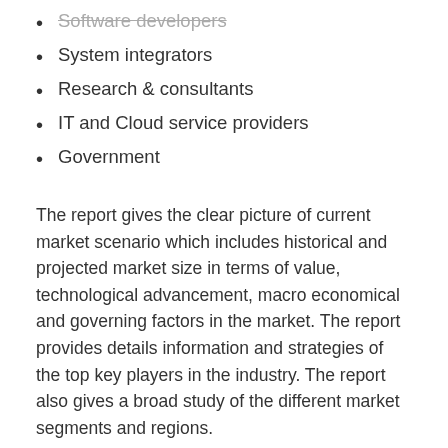Software developers
System integrators
Research & consultants
IT and Cloud service providers
Government
The report gives the clear picture of current market scenario which includes historical and projected market size in terms of value, technological advancement, macro economical and governing factors in the market. The report provides details information and strategies of the top key players in the industry. The report also gives a broad study of the different market segments and regions.
Browse full report @
https://www.marketresearchfuture.com/reports/high-